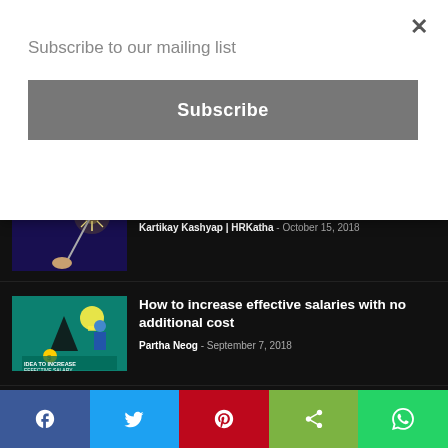Subscribe to our mailing list
Subscribe
festive months
Kartikay Kashyap | HRKatha - October 15, 2018
How to increase effective salaries with no additional cost
Partha Neog - September 7, 2018
Productivity linked bonus approved for railway employees by union cabinet
HRK News Bureau - October 15, 2018